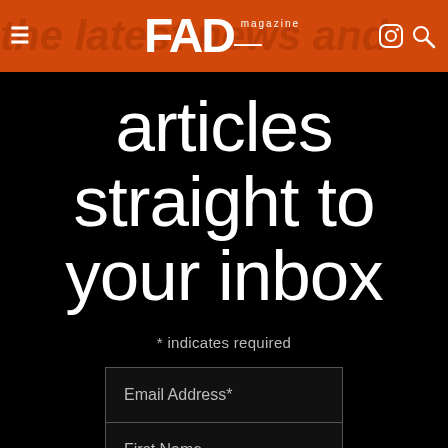the latest news and articles — FAD magazine
articles straight to your inbox
* indicates required
Email Address*
First Name
Last Name
Subscribe